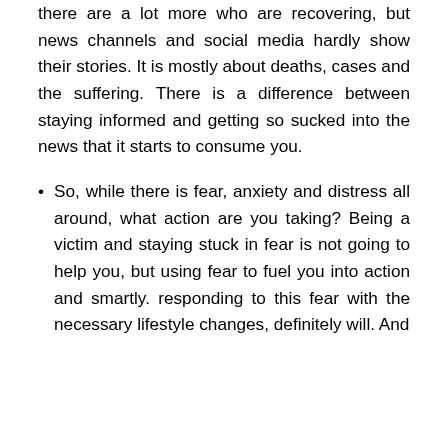there are a lot more who are recovering, but news channels and social media hardly show their stories. It is mostly about deaths, cases and the suffering. There is a difference between staying informed and getting so sucked into the news that it starts to consume you.
So, while there is fear, anxiety and distress all around, what action are you taking? Being a victim and staying stuck in fear is not going to help you, but using fear to fuel you into action and smartly. responding to this fear with the necessary lifestyle changes, definitely will. And